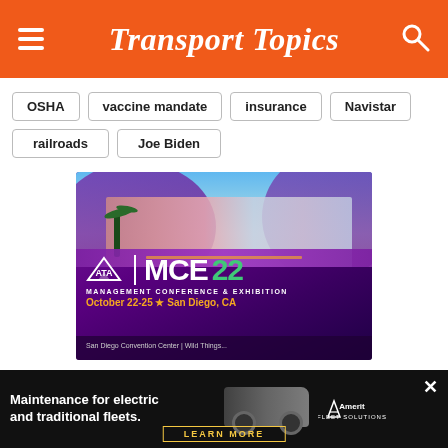Transport Topics
OSHA
vaccine mandate
insurance
Navistar
railroads
Joe Biden
[Figure (illustration): ATA MCE22 Management Conference & Exhibition advertisement banner. Shows San Diego skyline with purple background. Text: October 22-25, San Diego, CA]
[Figure (advertisement): Amerit Fleet Solutions ad: Maintenance for electric and traditional fleets. LEARN MORE button. Dark background with truck imagery.]